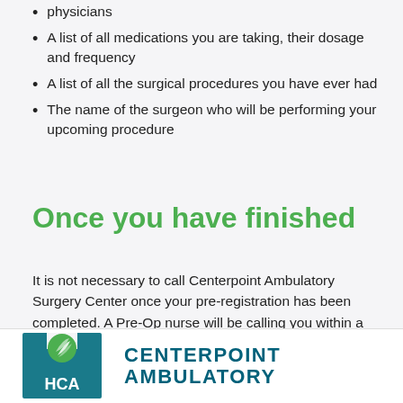physicians
A list of all medications you are taking, their dosage and frequency
A list of all the surgical procedures you have ever had
The name of the surgeon who will be performing your upcoming procedure
Once you have finished
It is not necessary to call Centerpoint Ambulatory Surgery Center once your pre-registration has been completed. A Pre-Op nurse will be calling you within a week of your procedure.
[Figure (logo): HCA Centerpoint Ambulatory Surgery Center logo with teal square background, green leaf circle emblem, and HCA text in white, followed by CENTERPOINT AMBULATORY text in teal]